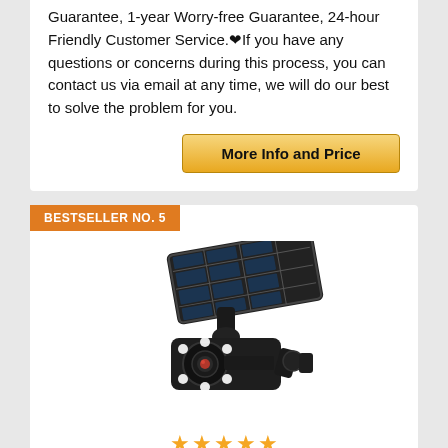Guarantee, 1-year Worry-free Guarantee, 24-hour Friendly Customer Service.❤If you have any questions or concerns during this process, you can contact us via email at any time, we will do our best to solve the problem for you.
[Figure (other): Golden 'More Info and Price' button]
BESTSELLER NO. 5
[Figure (photo): Solar-powered dummy security camera with LED lights and motion sensor, black color, mounted on bracket]
138 Opiniones